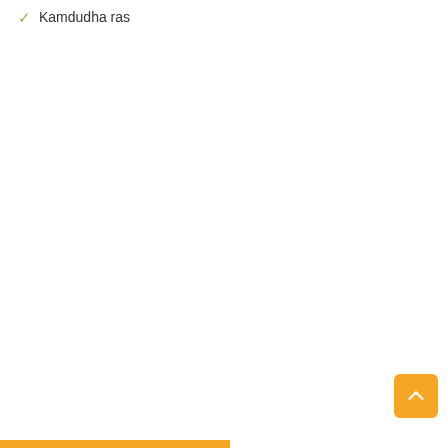Kamdudha ras
[Figure (other): Orange scroll-to-top button with upward chevron arrow in bottom-right corner]
[Figure (other): Orange horizontal bar at the very bottom of the page]